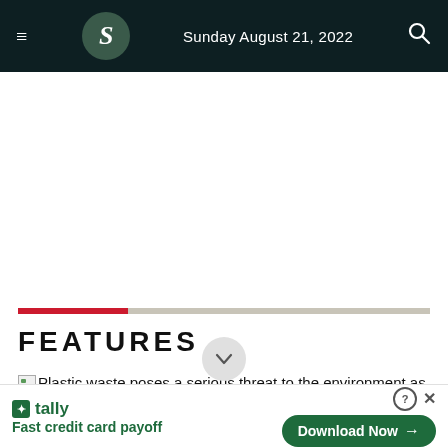Sunday August 21, 2022
FEATURES
Plastic waste poses a serious threat to the environment as well as to the society, and overtime, its use has increased drastically. Photo: TBS
tally — Fast credit card payoff — Download Now